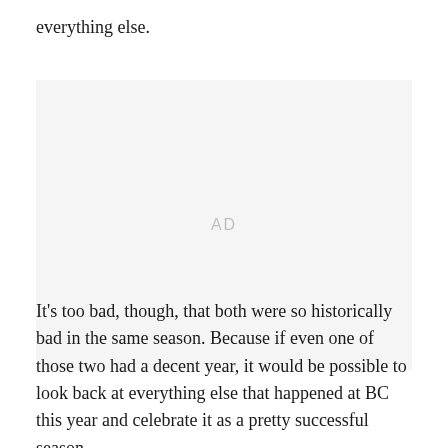everything else.
[Figure (other): Advertisement placeholder area with 'AD' label in light gray]
It's too bad, though, that both were so historically bad in the same season. Because if even one of those two had a decent year, it would be possible to look back at everything else that happened at BC this year and celebrate it as a pretty successful season.